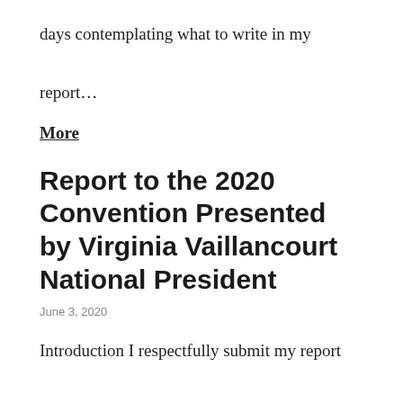days contemplating what to write in my report…
More
Report to the 2020 Convention Presented by Virginia Vaillancourt National President
June 3, 2020
Introduction I respectfully submit my report covering my tenure as Acting National President from September 27, 2018 to